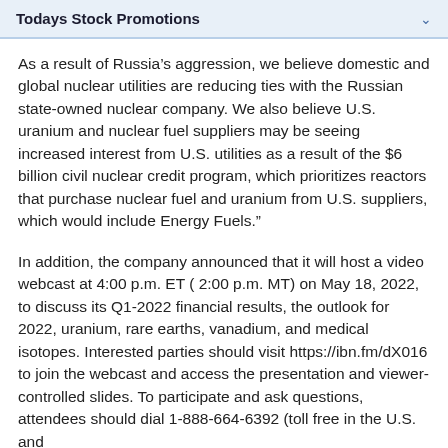Todays Stock Promotions
As a result of Russia’s aggression, we believe domestic and global nuclear utilities are reducing ties with the Russian state-owned nuclear company. We also believe U.S. uranium and nuclear fuel suppliers may be seeing increased interest from U.S. utilities as a result of the $6 billion civil nuclear credit program, which prioritizes reactors that purchase nuclear fuel and uranium from U.S. suppliers, which would include Energy Fuels.”
In addition, the company announced that it will host a video webcast at 4:00 p.m. ET ( 2:00 p.m. MT) on May 18, 2022, to discuss its Q1-2022 financial results, the outlook for 2022, uranium, rare earths, vanadium, and medical isotopes. Interested parties should visit https://ibn.fm/dX016 to join the webcast and access the presentation and viewer-controlled slides. To participate and ask questions, attendees should dial 1-888-664-6392 (toll free in the U.S. and